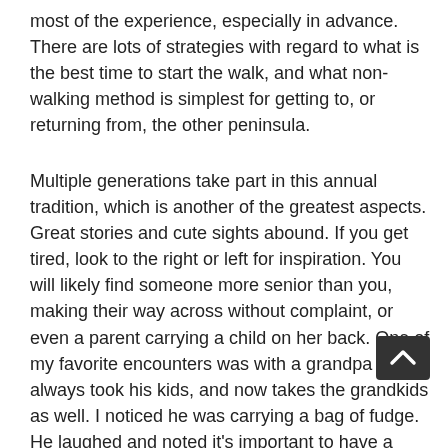most of the experience, especially in advance. There are lots of strategies with regard to what is the best time to start the walk, and what non-walking method is simplest for getting to, or returning from, the other peninsula.
Multiple generations take part in this annual tradition, which is another of the greatest aspects. Great stories and cute sights abound. If you get tired, look to the right or left for inspiration. You will likely find someone more senior than you, making their way across without complaint, or even a parent carrying a child on her back. One of my favorite encounters was with a grandpa who always took his kids, and now takes the grandkids as well. I noticed he was carrying a bag of fudge. He laughed and noted it's important to have a snack along the way. His daughter added, “Leave it to a Michigander to bring dessert to a workout.”
[Figure (other): A dark grey scroll-to-top button with an upward chevron arrow icon, overlapping the text near the bottom right of the page.]